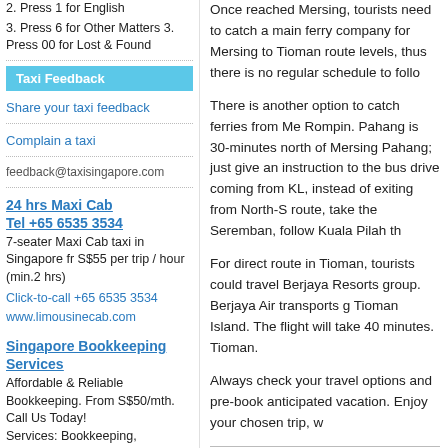2. Press 1 for English
3. Press 6 for Other Matters 3. Press 00 for Lost & Found
Taxi Feedback
Share your taxi feedback
Complain a taxi
feedback@taxisingapore.com
24 hrs Maxi Cab
Tel +65 6535 3534
7-seater Maxi Cab taxi in Singapore fr S$55 per trip / hour (min.2 hrs)
Click-to-call +65 6535 3534
www.limousinecab.com
Singapore Bookkeeping Services
Affordable & Reliable Bookkeeping. From S$50/mth. Call Us Today!
Services: Bookkeeping, Accounting, Payroll, Corp Sect, Manpower Outsourcing, BPO
Once reached Mersing, tourists need to catch a main ferry company for Mersing to Tioman route levels, thus there is no regular schedule to follow.
There is another option to catch ferries from Me Rompin. Pahang is 30-minutes north of Mersing Pahang; just give an instruction to the bus drive coming from KL, instead of exiting from North-S route, take the Seremban, follow Kuala Pilah th
For direct route in Tioman, tourists could travel Berjaya Resorts group. Berjaya Air transports g Tioman Island. The flight will take 40 minutes. Tioman.
Always check your travel options and pre-book anticipated vacation. Enjoy your chosen trip, w
Singapore to Mersing